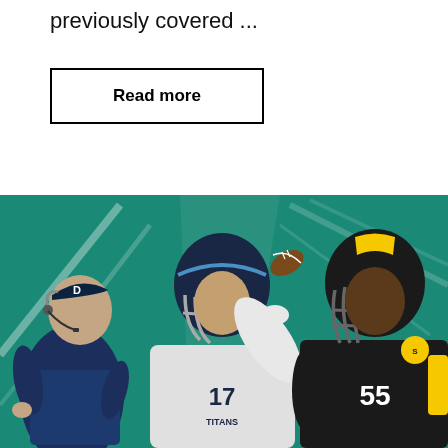previously covered ...
Read more
[Figure (photo): Three NFL figures on a teal/green background: a coach on the left wearing a Dallas Cowboys cap with a headset, a quarterback in white Tennessee Titans jersey number 17 in the center throwing a football, and a linebacker in black Pittsburgh Steelers jersey number 55 on the right.]